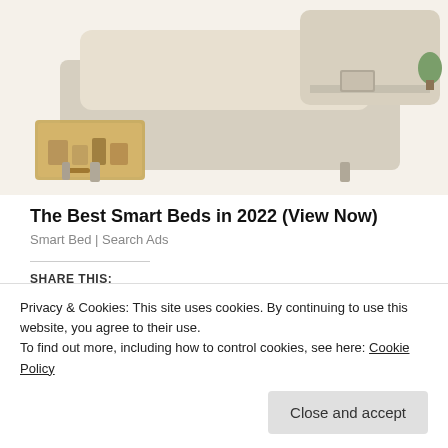[Figure (photo): Product photo of a beige/cream smart bed with storage drawer pulled out, showing the underbed storage compartment and headboard with shelf.]
The Best Smart Beds in 2022 (View Now)
Smart Bed | Search Ads
SHARE THIS:
[Figure (infographic): Row of social sharing icon buttons: Facebook (blue), LinkedIn (dark blue), Twitter (light blue), Pinterest (red), Email (grey)]
[Figure (infographic): WordPress Like button with star icon, followed by two user avatar images (one green, one dark/grey)]
Privacy & Cookies: This site uses cookies. By continuing to use this website, you agree to their use.
To find out more, including how to control cookies, see here: Cookie Policy
Close and accept